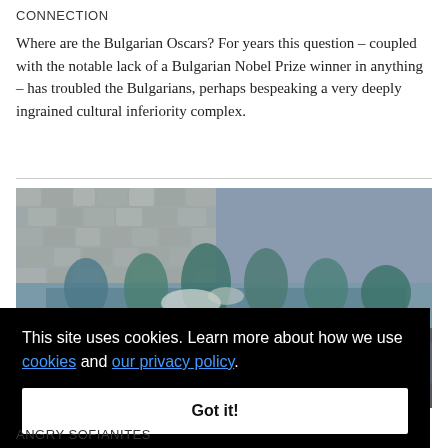CONNECTION
Where are the Bulgarian Oscars? For years this question – coupled with the notable lack of a Bulgarian Nobel Prize winner in anything – has troubled the Bulgarians, perhaps bespeaking a very deeply ingrained cultural inferiority complex.
[Figure (photo): A photograph of a building's reflection in a puddle on cobblestone pavement, with a small duck-like toy floating in the puddle.]
This site uses cookies. Learn more about how we use cookies and our privacy policy.
Got it!
ANGRY SOFIANITES